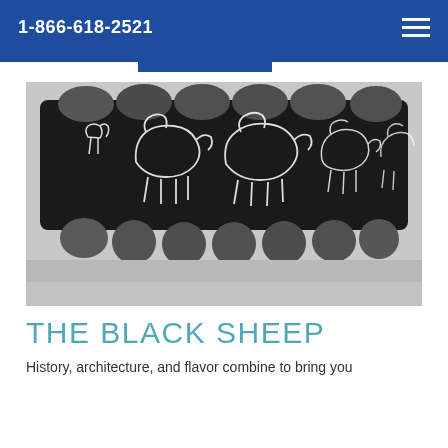1-866-618-2521
[Figure (photo): Black and white photo viewed from above showing an egg carton or similar molded form with outline drawings of sheep etched into its dark interior. The ridged bottom of the carton is visible below.]
THE BLACK SHEEP
History, architecture, and flavor combine to bring you